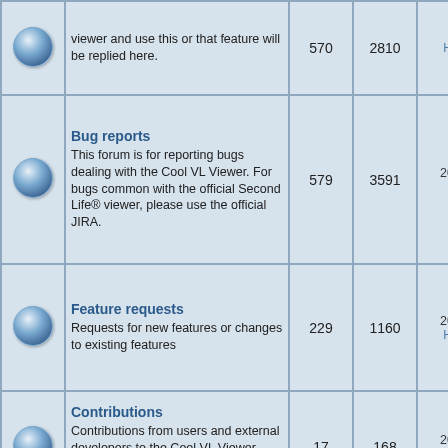|  | Forum | Topics | Posts | Last post |
| --- | --- | --- | --- | --- |
| [icon] | viewer and use this or that feature will be replied here. | 570 | 2810 | Henri Beauchamp |
| [icon] | Bug reports
This forum is for reporting bugs dealing with the Cool VL Viewer. For bugs common with the official Second Life® viewer, please use the official JIRA. | 579 | 3591 | 2022-08-21 04:56:57
TizzyCalliope |
| [icon] | Feature requests
Requests for new features or changes to existing features | 229 | 1160 | 2022-08-13 21:53:50
Henri Beauchamp |
| [icon] | Contributions
Contributions from users and external developers to the Cool VL Viewer code (C++ code, Lua scripts, UI skins/themes...) | 17 | 168 | 2022-06-28 14:23:16
DonFranko |